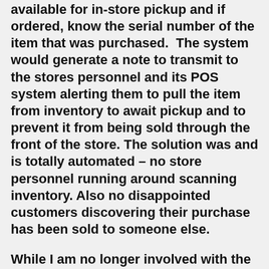available for in-store pickup and if ordered, know the serial number of the item that was purchased.  The system would generate a note to transmit to the stores personnel and its POS system alerting them to pull the item from inventory to await pickup and to prevent it from being sold through the front of the store. The solution was and is totally automated – no store personnel running around scanning inventory. Also no disappointed customers discovering their purchase has been sold to someone else.
While I am no longer involved with the company, it has found traction in other industries, and I am proud to say that it is contributing to improved profits for the companies it serves because they experience fewer lost sales due to OOS. And I would assume